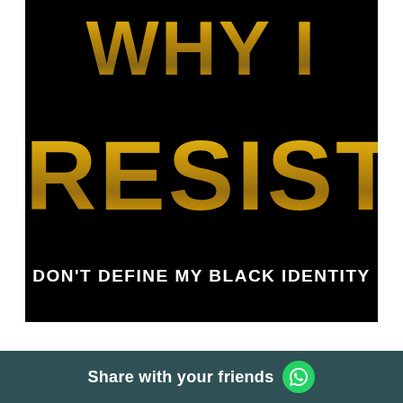[Figure (illustration): Book cover with black background and large gold metallic text reading 'WHY I RESIST' and subtitle 'DON'T DEFINE MY BLACK IDENTITY']
Share with your friends